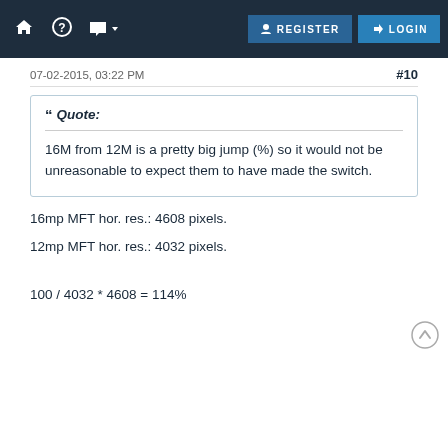HOME | HELP | CHAT | REGISTER | LOGIN
07-02-2015, 03:22 PM   #10
Quote:
16M from 12M is a pretty big jump (%) so it would not be unreasonable to expect them to have made the switch.
16mp MFT hor. res.: 4608 pixels.
12mp MFT hor. res.: 4032 pixels.
100 / 4032 * 4608 = 114%